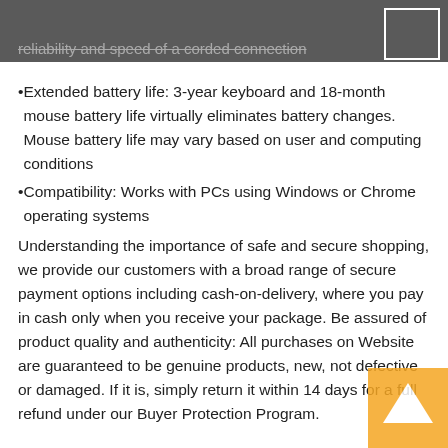reliability and speed of a corded connection
Extended battery life: 3-year keyboard and 18-month mouse battery life virtually eliminates battery changes. Mouse battery life may vary based on user and computing conditions
Compatibility: Works with PCs using Windows or Chrome operating systems
Understanding the importance of safe and secure shopping, we provide our customers with a broad range of secure payment options including cash-on-delivery, where you pay in cash only when you receive your package. Be assured of product quality and authenticity: All purchases on Website are guaranteed to be genuine products, new, not defective or damaged. If it is, simply return it within 14 days for a full refund under our Buyer Protection Program.